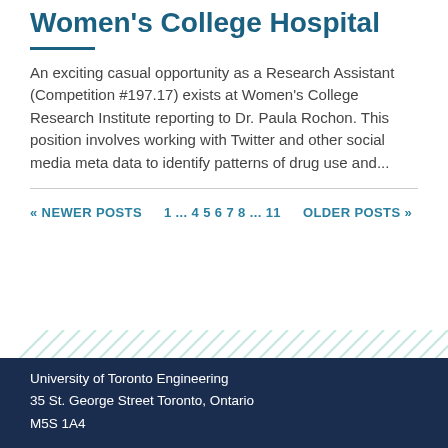Women's College Hospital
An exciting casual opportunity as a Research Assistant (Competition #197.17) exists at Women's College Research Institute reporting to Dr. Paula Rochon. This position involves working with Twitter and other social media meta data to identify patterns of drug use and...
« NEWER POSTS    1 ... 4 5 6 7 8 ... 11    OLDER POSTS »
University of Toronto Engineering
35 St. George Street Toronto, Ontario
M5S 1A4